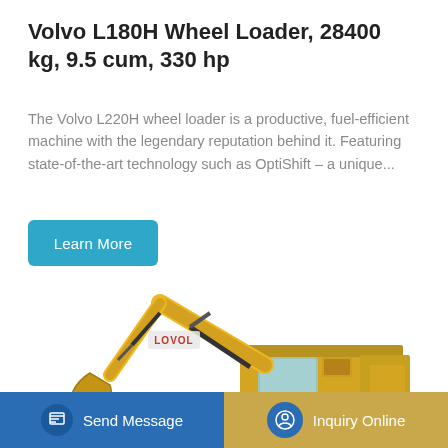Volvo L180H Wheel Loader, 28400 kg, 9.5 cum, 330 hp
The Volvo L220H wheel loader is a productive, fuel-efficient machine with the legendary reputation behind it. Featuring state-of-the-art technology such as OptiShift – a unique...
Learn More
[Figure (photo): Yellow LOVOL excavator/hydraulic shovel on white background, showing boom, arm, bucket, undercarriage and cab]
Send Message
Inquiry Online